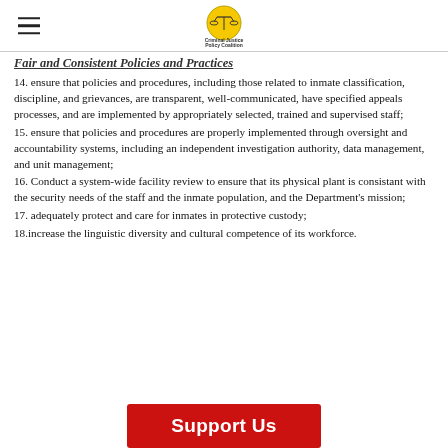Criminal Justice Policy Coalition [logo]
Fair and Consistent Policies and Practices
14. ensure that policies and procedures, including those related to inmate classification, discipline, and grievances, are transparent, well-communicated, have specified appeals processes, and are implemented by appropriately selected, trained and supervised staff;
15. ensure that policies and procedures are properly implemented through oversight and accountability systems, including an independent investigation authority, data management, and unit management;
16. Conduct a system-wide facility review to ensure that its physical plant is consistant with the security needs of the staff and the inmate population, and the Department's mission;
17. adequately protect and care for inmates in protective custody;
18.increase the linguistic diversity and cultural competence of its workforce.